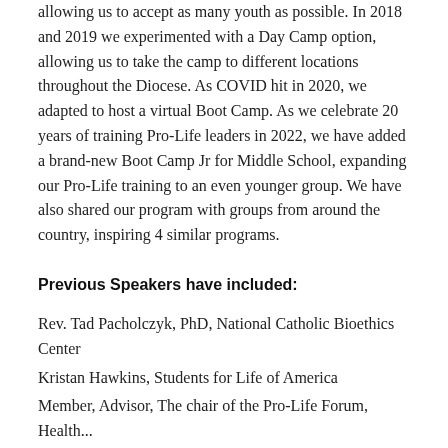allowing us to accept as many youth as possible. In 2018 and 2019 we experimented with a Day Camp option, allowing us to take the camp to different locations throughout the Diocese. As COVID hit in 2020, we adapted to host a virtual Boot Camp. As we celebrate 20 years of training Pro-Life leaders in 2022, we have added a brand-new Boot Camp Jr for Middle School, expanding our Pro-Life training to an even younger group. We have also shared our program with groups from around the country, inspiring 4 similar programs.
Previous Speakers have included:
Rev. Tad Pacholczyk, PhD, National Catholic Bioethics Center
Kristan Hawkins, Students for Life of America
Member, Advisor, The chair of the Pro-Life Forum, Health...